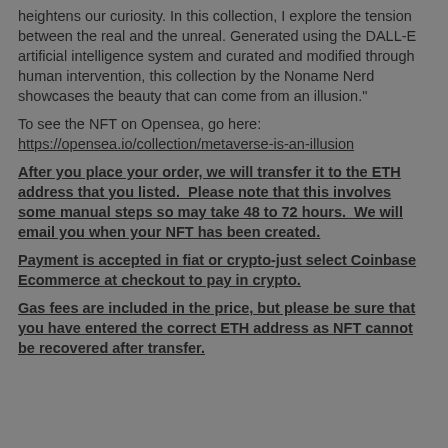heightens our curiosity. In this collection, I explore the tension between the real and the unreal. Generated using the DALL-E artificial intelligence system and curated and modified through human intervention, this collection by the Noname Nerd showcases the beauty that can come from an illusion."
To see the NFT on Opensea, go here:  https://opensea.io/collection/metaverse-is-an-illusion
After you place your order, we will transfer it to the ETH address that you listed.  Please note that this involves some manual steps so may take 48 to 72 hours.  We will email you when your NFT has been created.
Payment is accepted in fiat or crypto-just select Coinbase Ecommerce at checkout to pay in crypto.
Gas fees are included in the price, but please be sure that you have entered the correct ETH address as NFT cannot be recovered after transfer.